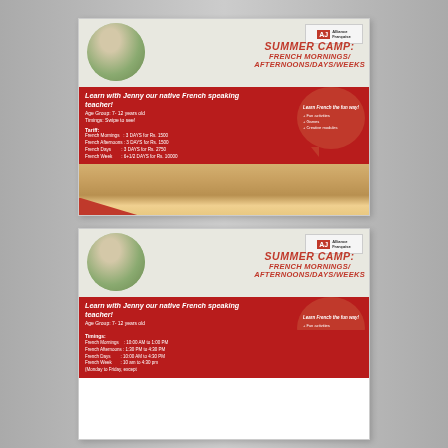[Figure (infographic): Summer Camp flyer card 1: Photo of smiling woman in circle top-left, logo top-right. Title 'SUMMER CAMP: FRENCH MORNINGS/AFTERNOONS/DAYS/WEEKS' in red. Red block with 'Learn with Jenny our native French speaking teacher!', age group, timings, tariff info. Speech bubble with 'Learn French the fun way! Fun activities, Games, Creative modules'. Bottom strip with children photos and contact info.]
[Figure (infographic): Summer Camp flyer card 2 (partial): Same layout as card 1 but showing timings detail: French Mornings 10:00 AM to 1:00 PM, French Afternoons 1:30 PM to 4:30 PM, French Days 10:00 AM to 4:30 PM, French Week 10 am to 4:30 pm (Monday to Friday, except...)]